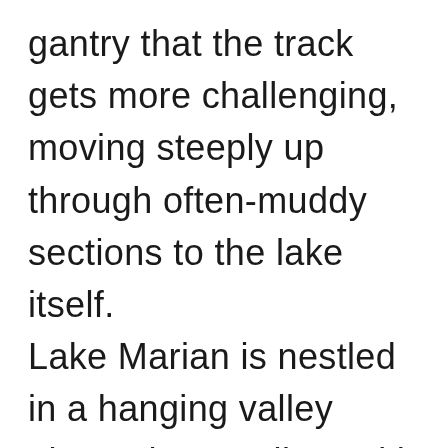gantry that the track gets more challenging, moving steeply up through often-muddy sections to the lake itself. Lake Marian is nestled in a hanging valley above the tree line, with the reflections from the towering mountains all